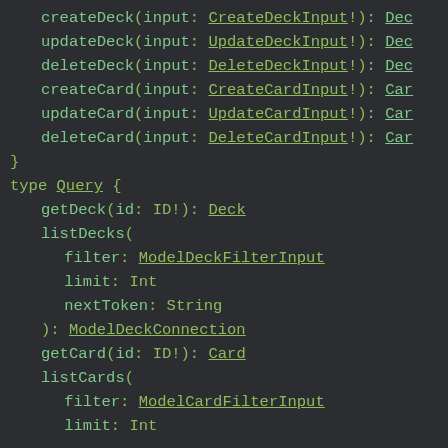createDeck(input: CreateDeckInput!): Dec
    updateDeck(input: UpdateDeckInput!): Dec
    deleteDeck(input: DeleteDeckInput!): Dec
    createCard(input: CreateCardInput!): Car
    updateCard(input: UpdateCardInput!): Car
    deleteCard(input: DeleteCardInput!): Car
}

type Query {
    getDeck(id: ID!): Deck
    listDecks(
        filter: ModelDeckFilterInput
        limit: Int
        nextToken: String
    ): ModelDeckConnection
    getCard(id: ID!): Card
    listCards(
        filter: ModelCardFilterInput
        limit: Int